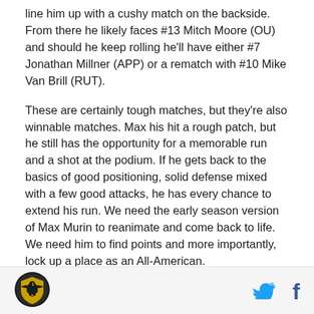line him up with a cushy match on the backside. From there he likely faces #13 Mitch Moore (OU) and should he keep rolling he'll have either #7 Jonathan Millner (APP) or a rematch with #10 Mike Van Brill (RUT).
These are certainly tough matches, but they're also winnable matches. Max his hit a rough patch, but he still has the opportunity for a memorable run and a shot at the podium. If he gets back to the basics of good positioning, solid defense mixed with a few good attacks, he has every chance to extend his run. We need the early season version of Max Murin to reanimate and come back to life. We need him to find points and more importantly, lock up a place as an All-American.